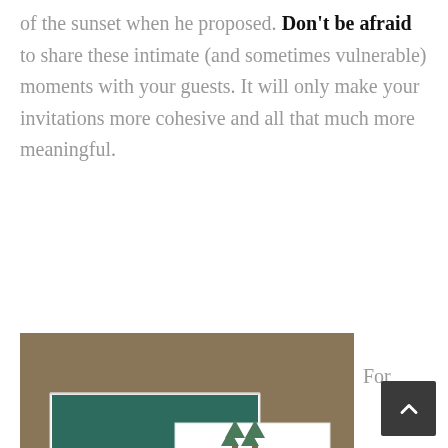of the sunset when he proposed. Don't be afraid to share these intimate (and sometimes vulnerable) moments with your guests. It will only make your invitations more cohesive and all that much more meaningful.
[Figure (photo): Wedding invitation suite with a white envelope open showing teal/dark green liner, a white invitation card with pine tree illustration and text, a kraft/tan paper invitation, and additional cards, arranged on a tan/brown textured background.]
For